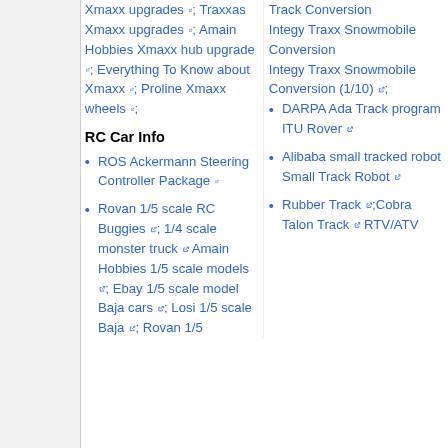Xmaxx upgrades; Traxxas Xmaxx upgrades; Amain Hobbies Xmaxx hub upgrade; Everything To Know about Xmaxx; Proline Xmaxx wheels;
RC Car Info
ROS Ackermann Steering Controller Package
Rovan 1/5 scale RC Buggies; 1/4 scale monster truck Amain Hobbies 1/5 scale models; Ebay 1/5 scale model Baja cars; Losi 1/5 scale Baja; Rovan 1/5
Track Conversion Integy Traxx Snowmobile Conversion Integy Traxx Snowmobile Conversion (1/10);
DARPA Ada Track program ITU Rover
Alibaba small tracked robot Small Track Robot
Rubber Track; Cobra Talon Track RTV/ATV